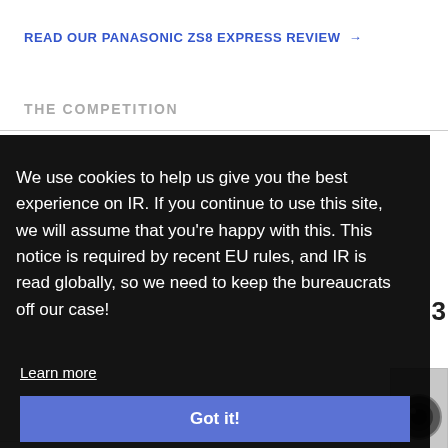READ OUR PANASONIC ZS8 EXPRESS REVIEW →
THE COMPETITION
We use cookies to help us give you the best experience on IR. If you continue to use this site, we will assume that you're happy with this. This notice is required by recent EU rules, and IR is read globally, so we need to keep the bureaucrats off our case!
Learn more
Got it!